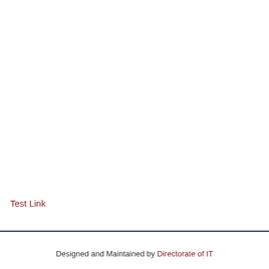Test Link
Designed and Maintained by Directorate of IT